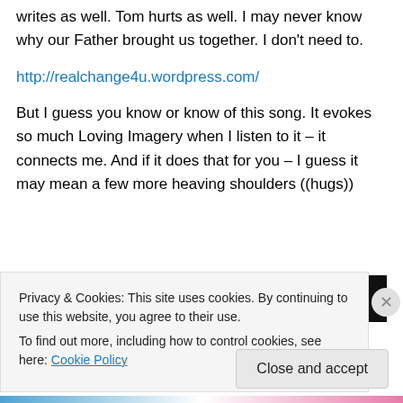writes as well. Tom hurts as well. I may never know why our Father brought us together. I don't need to.
http://realchange4u.wordpress.com/
But I guess you know or know of this song. It evokes so much Loving Imagery when I listen to it – it connects me. And if it does that for you – I guess it may mean a few more heaving shoulders ((hugs))
[Figure (screenshot): Dark image strip at bottom of content area]
Privacy & Cookies: This site uses cookies. By continuing to use this website, you agree to their use.
To find out more, including how to control cookies, see here: Cookie Policy
Close and accept